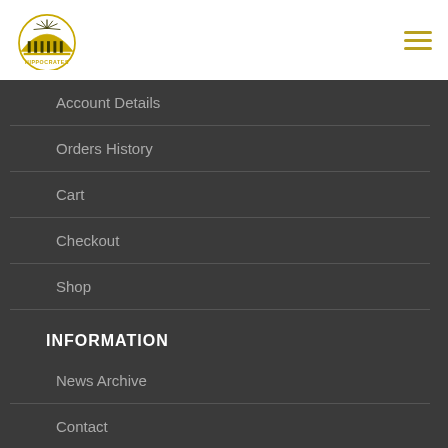[Figure (logo): Hippocrates logo - circular badge with sun/arch design and text HIPPOCRATES]
Account Details
Orders History
Cart
Checkout
Shop
INFORMATION
News Archive
Contact
Privacy Policy